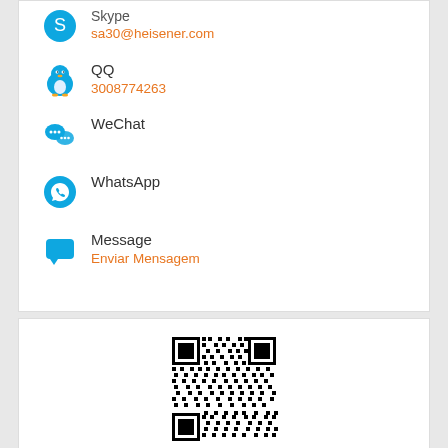Skype
sa30@heisener.com
QQ
3008774263
WeChat
WhatsApp
Message
Enviar Mensagem
[Figure (other): QR code image]